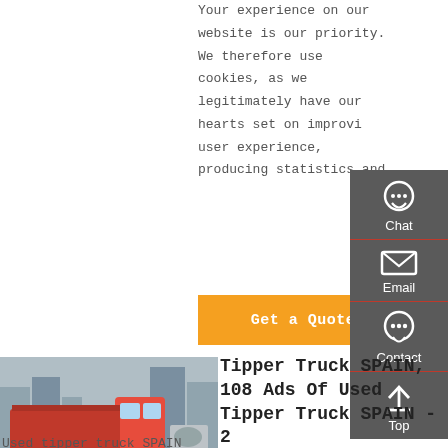Your experience on our website is our priority. We therefore use cookies, as we legitimately have our hearts set on improving user experience, producing statistics and
[Figure (other): Orange 'Get a Quote' button]
[Figure (other): Dark sidebar with Chat, Email, Contact, and Top buttons]
[Figure (photo): Red tipper truck (HOWO) parked at a construction site with buildings in background]
Tipper Truck SPAIN, 108 Ads Of Used Tipper Truck SPAIN - 2
Used tipper truck SPAIN